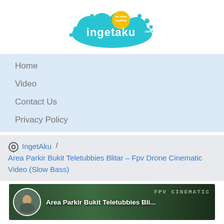[Figure (logo): ingetaku.com logo with teal bubble cloud design and yellow 'we share anythink' badge]
Home
Video
Contact Us
Privacy Policy
IngetAku / Area Parkir Bukit Teletubbies Blitar – Fpv Drone Cinematic Video (Slow Bass)
[Figure (screenshot): Video thumbnail showing Area Parkir Bukit Teletubbies Blitar with FPV Cinematic text overlay and person avatar]